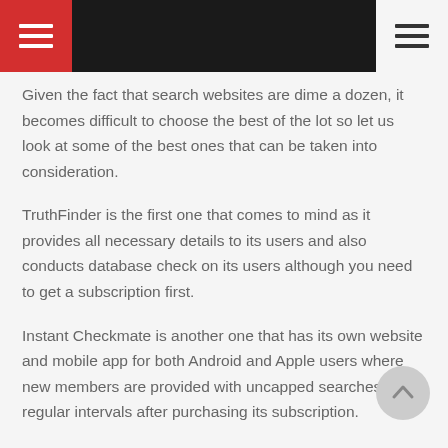[Navigation bar with hamburger menus]
Given the fact that search websites are dime a dozen, it becomes difficult to choose the best of the lot so let us look at some of the best ones that can be taken into consideration.
TruthFinder is the first one that comes to mind as it provides all necessary details to its users and also conducts database check on its users although you need to get a subscription first.
Instant Checkmate is another one that has its own website and mobile app for both Android and Apple users where new members are provided with uncapped searches at regular intervals after purchasing its subscription.
Intelius is an excellent find to go through trials with